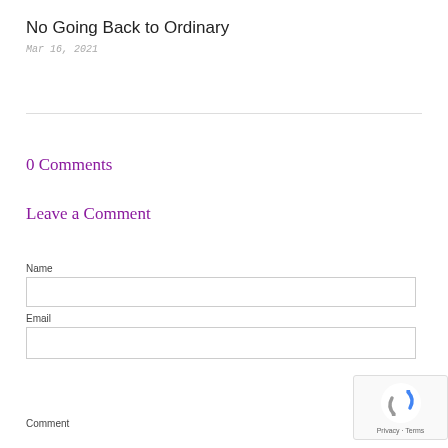No Going Back to Ordinary
Mar 16, 2021
0 Comments
Leave a Comment
Name
Email
Comment